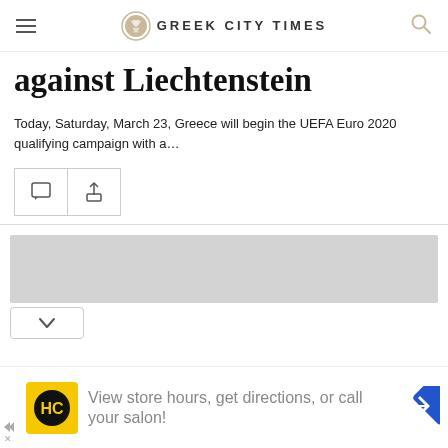GREEK CITY TIMES
against Liechtenstein
Today, Saturday, March 23, Greece will begin the UEFA Euro 2020 qualifying campaign with a…
[Figure (screenshot): Comment and share action buttons]
[Figure (screenshot): Gray advertisement bar with chevron/collapse button]
[Figure (screenshot): Bottom advertisement: HC logo, text 'View store hours, get directions, or call your salon!', navigation icon]